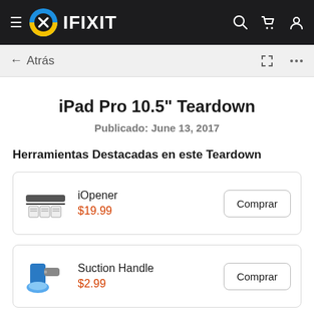IFIXIT
← Atrás
iPad Pro 10.5" Teardown
Publicado: June 13, 2017
Herramientas Destacadas en este Teardown
iOpener
$19.99
Suction Handle
$2.99